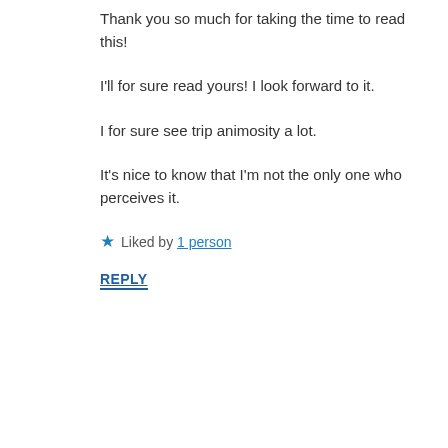Thank you so much for taking the time to read this!
I'll for sure read yours! I look forward to it.
I for sure see trip animosity a lot.
It's nice to know that I'm not the only one who perceives it.
★ Liked by 1 person
REPLY
Privacy & Cookies: This site uses cookies. By continuing to use this website, you agree to their use.
To find out more, including how to control cookies, see here: Cookie Policy
Close and accept